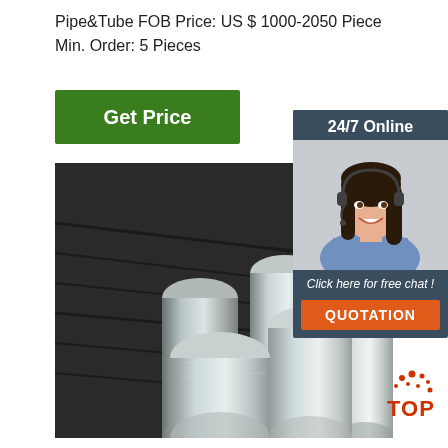Pipe&Tube FOB Price: US $ 1000-2050 Piece
Min. Order: 5 Pieces
Get Price
[Figure (photo): Stack of polished metal cylindrical bars/rods on a dark surface]
[Figure (other): 24/7 Online customer support widget with photo of woman wearing headset, 'Click here for free chat!' text, and orange QUOTATION button]
[Figure (other): TOP badge with red dots and text in bottom right corner]